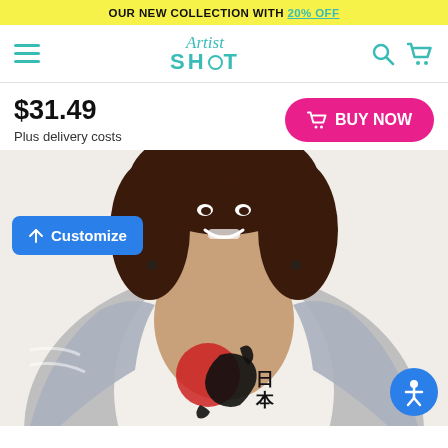OUR NEW COLLECTION WITH 20% OFF
[Figure (logo): ArtistShot logo with teal cursive 'Artist' above bold 'SHOT' text with circle-dot target motif]
$31.49
Plus delivery costs
BUY NOW
[Figure (photo): Woman with curly hair smiling, wearing a white t-shirt featuring a Japan map design with red sun circle and Japanese characters 日本, over a grey cardigan]
Customize